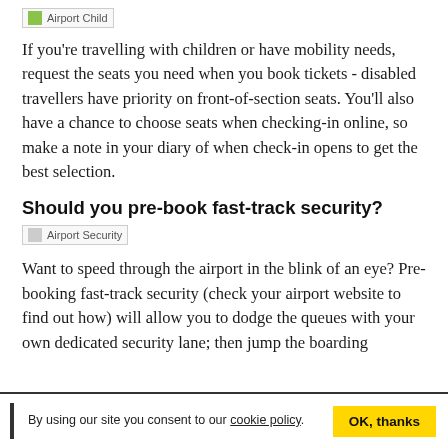[Figure (photo): Airport Child image placeholder with green icon]
If you're travelling with children or have mobility needs, request the seats you need when you book tickets - disabled travellers have priority on front-of-section seats. You'll also have a chance to choose seats when checking-in online, so make a note in your diary of when check-in opens to get the best selection.
Should you pre-book fast-track security?
[Figure (photo): Airport Security image placeholder]
Want to speed through the airport in the blink of an eye? Pre-booking fast-track security (check your airport website to find out how) will allow you to dodge the queues with your own dedicated security lane; then jump the boarding
By using our site you consent to our cookie policy. OK, thanks